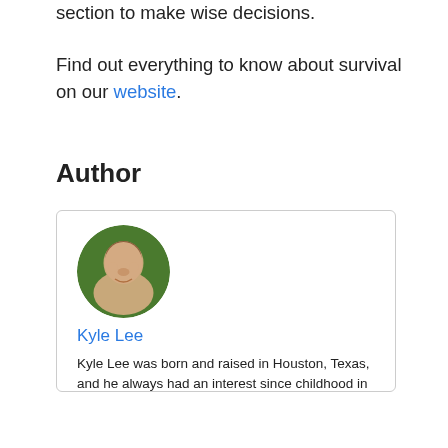section to make wise decisions.
Find out everything to know about survival on our website.
Author
[Figure (photo): Circular headshot photo of Kyle Lee, a man smiling, with green foliage background.]
Kyle Lee
Kyle Lee was born and raised in Houston, Texas, and he always had an interest since childhood in wildlife. Due to his awareness that the USA and